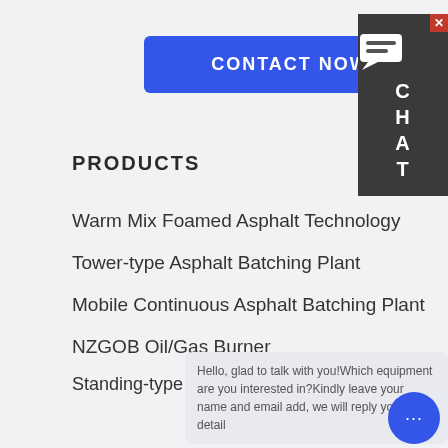CONTACT NOW!
[Figure (other): Chat widget sidebar with message icon and CHAT letters, dark background]
PRODUCTS
Warm Mix Foamed Asphalt Technology
Tower-type Asphalt Batching Plant
Mobile Continuous Asphalt Batching Plant
NZGOB Oil/Gas Burner
Standing-type Dry-mix Mixing Equipment
SITE NAV
Home
Produc
Mixing Plant
Hello, glad to talk with you!Which equipment are you interested in?Kindly leave your name and email add, we will reply you with detail